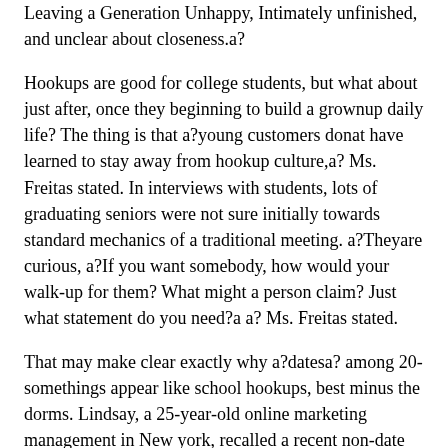Leaving a Generation Unhappy, Intimately unfinished, and unclear about closeness.a?
Hookups are good for college students, but what about just after, once they beginning to build a grownup daily life? The thing is that a?young customers donat have learned to stay away from hookup culture,a? Ms. Freitas stated. In interviews with students, lots of graduating seniors were not sure initially towards standard mechanics of a traditional meeting. a?Theyare curious, a?If you want somebody, how would your walk-up for them? What might a person claim? Just what statement do you need?a a? Ms. Freitas stated.
That may make clear exactly why a?datesa? among 20-somethings appear like school hookups, best minus the dorms. Lindsay, a 25-year-old online marketing management in New york, recalled a recent non-date that have all other beauty of a keg stand (the woman surname is absolutely not utilized below to avoid professional discomfort).